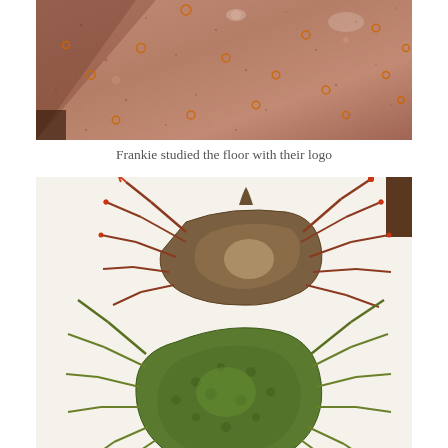[Figure (photo): Photo of a pinkish-brown granite or terrazzo floor surface with small orange/red circular logo marks scattered across it. The floor has a diagonal step or ledge visible at the upper left.]
Frankie studied the floor with their logo
[Figure (illustration): Illustration of two crabs on a white background. The upper crab is brown/tan with reddish-tipped legs in a top-down view. The lower crab is green with lighter green legs, also in a top-down view.]